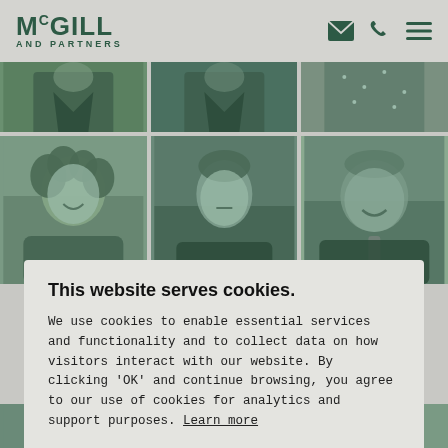McGILL AND PARTNERS
[Figure (photo): Three green-tinted black and white headshot photos of professionals, partially cropped at top (torso/shoulder level visible)]
[Figure (photo): Three green-tinted black and white headshot photos: woman with curly hair smiling, man with short hair serious expression, older man smiling]
This website serves cookies.
We use cookies to enable essential services and functionality and to collect data on how visitors interact with our website. By clicking 'OK' and continue browsing, you agree to our use of cookies for analytics and support purposes. Learn more
I'm OK with that
[Figure (photo): Three green-tinted black and white headshot photos of professionals, partially cropped (heads visible at bottom of page)]